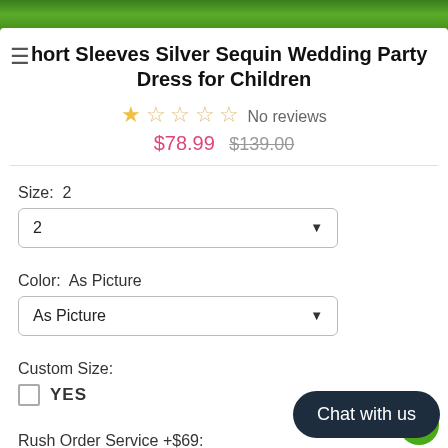[Figure (photo): Green grass background banner at top of page]
Short Sleeves Silver Sequin Wedding Party Dress for Children
No reviews
$78.99  $139.00
Size:  2
2 (dropdown)
Color:  As Picture
As Picture (dropdown)
Custom Size:
YES
Rush Order Service +$69:
Chat with us